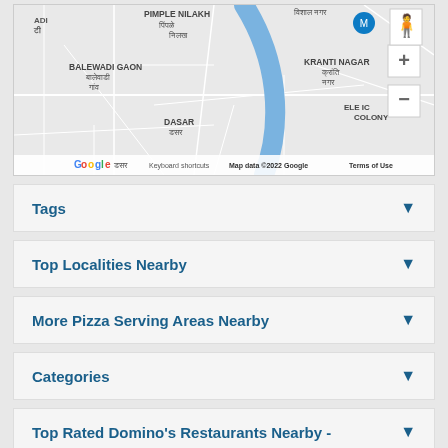[Figure (map): Google Map showing Pimple Nilakh, Balewadi Gaon, Kranti Nagar, Dasar areas with a blue road/river. Map data ©2022 Google. Zoom controls visible. Keyboard shortcuts, Terms of Use links at bottom.]
Tags
Top Localities Nearby
More Pizza Serving Areas Nearby
Categories
Top Rated Domino's Restaurants Nearby -